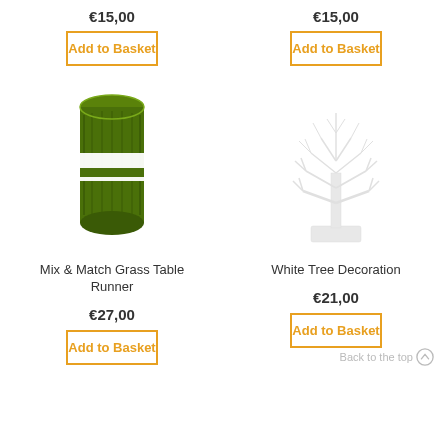€15,00
Add to Basket
€15,00
Add to Basket
[Figure (photo): Rolled green artificial grass table runner with white label band]
[Figure (photo): White decorative bare tree on square base]
Mix & Match Grass Table Runner
White Tree Decoration
€27,00
€21,00
Add to Basket
Add to Basket
Back to the top